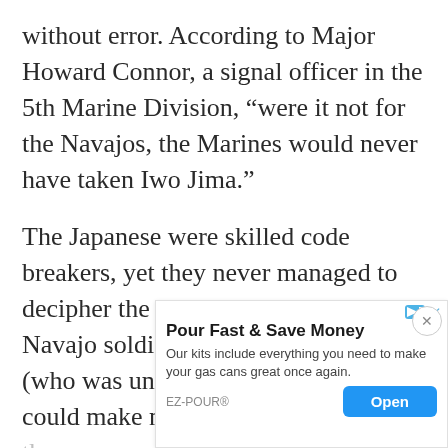without error. According to Major Howard Connor, a signal officer in the 5th Marine Division, “were it not for the Navajos, the Marines would never have taken Iwo Jima.”
The Japanese were skilled code breakers, yet they never managed to decipher the Navajo code. Even a Navajo soldier captured at Bataan (who was untrained as a code talker) could make neither heads nor tails of th[e...] fo[...] un[...]
[Figure (other): Advertisement banner overlay: 'Pour Fast & Save Money' by EZ-POUR with an Open button. Text reads: Our kits include everything you need to make your gas cans great once again.]